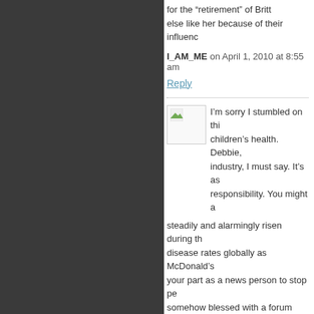for the “retirement” of Britt... else like her because of their influenc...
I_AM_ME on April 1, 2010 at 8:55 am
Reply
I’m sorry I stumbled on thi... children’s health. Debbie, ... industry, I must say. It’s as... responsibility. You might a... steadily and alarmingly risen during th... disease rates globally as McDonald’s... your part as a news person to stop pe... somehow blessed with a forum such a... fellow idealogs what they want to hea...
C: Corporations do have to be acco... Not to a bunch of whining left-wing... kids and think McDonald’s, not par... with the “it takes a village” BS. It ta...
Catherine on April 4, 2010 at 6:41 pm